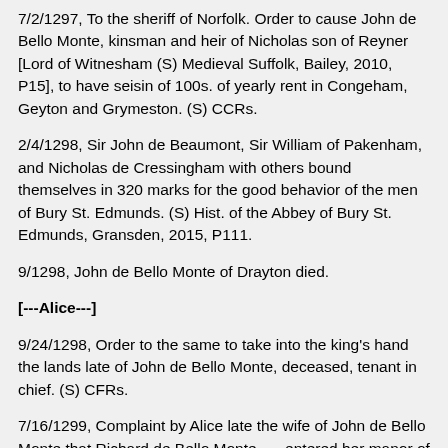7/2/1297, To the sheriff of Norfolk. Order to cause John de Bello Monte, kinsman and heir of Nicholas son of Reyner [Lord of Witnesham (S) Medieval Suffolk, Bailey, 2010, P15], to have seisin of 100s. of yearly rent in Congeham, Geyton and Grymeston. (S) CCRs.
2/4/1298, Sir John de Beaumont, Sir William of Pakenham, and Nicholas de Cressingham with others bound themselves in 320 marks for the good behavior of the men of Bury St. Edmunds. (S) Hist. of the Abbey of Bury St. Edmunds, Gransden, 2015, P111.
9/1298, John de Bello Monte of Drayton died.
[---Alice---]
9/24/1298, Order to the same to take into the king's hand the lands late of John de Bello Monte, deceased, tenant in chief. (S) CFRs.
7/16/1299, Complaint by Alice late the wife of John de Bello Monte that Richard de Bello Monte, … entered her manor of Drayton, co. Norfolk, broke her houses there, cut down her